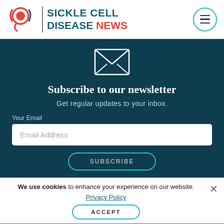SICKLE CELL DISEASE NEWS
Subscribe to our newsletter
Get regular updates to your inbox.
Your Email
Email Address
SUBSCRIBE
We use cookies to enhance your experience on our website. Privacy Policy
ACCEPT
Finding Sickle Cell A…